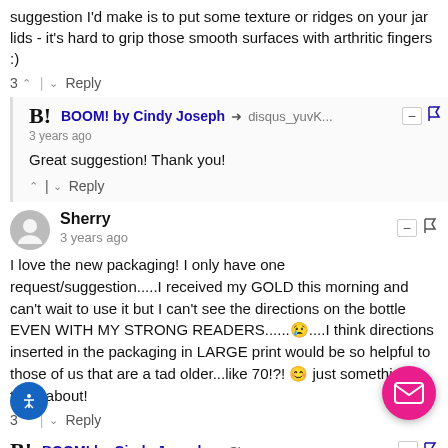suggestion I'd make is to put some texture or ridges on your jar lids - it's hard to grip those smooth surfaces with arthritic fingers :)
3 ↑ | ↓ Reply
BOOM! by Cindy Joseph → disqus_yuvK... 3 years ago
Great suggestion! Thank you!
↑ | ↓ Reply
Sherry
3 years ago
I love the new packaging! I only have one request/suggestion.....I received my GOLD this morning and can't wait to use it but I can't see the directions on the bottle EVEN WITH MY STRONG READERS......😢....I think directions inserted in the packaging in LARGE print would be so helpful to those of us that are a tad older...like 70!?! 😊 just something to think about!
3 ↑ | ↓ Reply
BOOM! by Cindy Joseph → Sherry
3 years ago